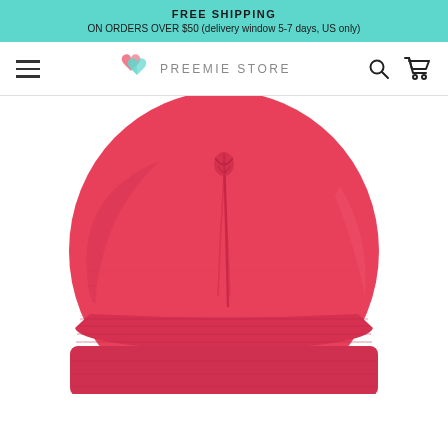FREE SHIPPING
ON ORDERS OVER $50 (delivery window 5-7 days, US only)
[Figure (logo): Preemie Store navigation bar with hamburger menu, logo (two overlapping hearts in pink and teal with text PREEMIE STORE), search icon, and cart icon]
[Figure (photo): A hot pink/coral knit beanie hat viewed from the top, showing the crown seam and a folded cuff at the bottom, on a white background]